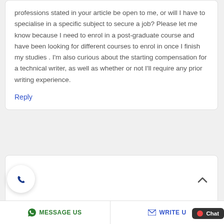professions stated in your article be open to me, or will I have to specialise in a specific subject to secure a job? Please let me know because I need to enrol in a post-graduate course and have been looking for different courses to enrol in once I finish my studies . I'm also curious about the starting compensation for a technical writer, as well as whether or not I'll require any prior writing experience.
Reply
[Figure (screenshot): Phone call button (circular white button with dark blue phone icon)]
[Figure (screenshot): Scroll-to-top arrow button]
MESSAGE US
WRITE U
Chat